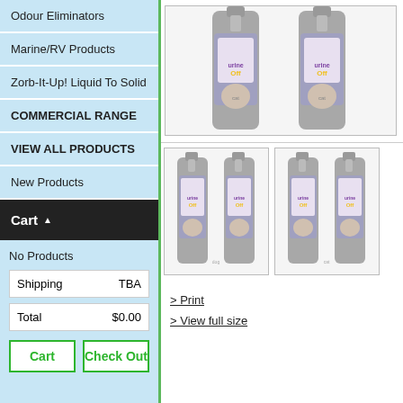Odour Eliminators
Marine/RV Products
Zorb-It-Up! Liquid To Solid
COMMERCIAL RANGE
VIEW ALL PRODUCTS
New Products
Cart ▲
No Products
| Shipping | TBA |
| --- | --- |
| Total | $0.00 |
Cart   Check Out
[Figure (photo): Two spray bottles of Urine Off product, cat version, shown from the front]
[Figure (photo): Two spray bottles of Urine Off product, dog version, thumbnail]
[Figure (photo): Two spray bottles of Urine Off product, cat version, thumbnail]
> Print
> View full size